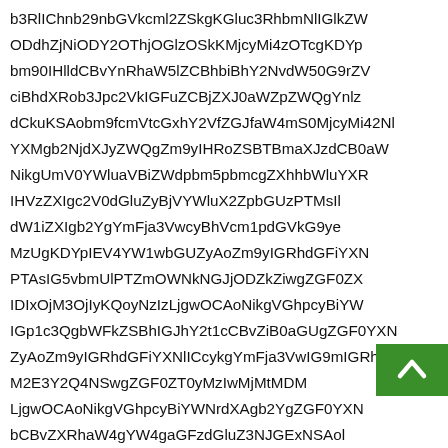b3RlIChnb29nbGVkcml2ZSkgKGluc3RhbmNlIGlkZW... ODdhZjNiODY2OThjOGlzOSkKMjcyMi4zOTcgKDYp... bm90IHlldCBvYnRhaW5lZCBhbiBhY2NvdW50G9rZV... ciBhdXRob3Jpc2VkIGFuZCBjZXJ0aWZpZWQgYnlz... dCkuKSAobm9fcmVtcGxhY2VfZGJfaW4mS0MjcyMi42Nl... YXMgb2NjdXJyZWQgZm9yIHRoZSBTBmaXJzdCB0aW... NikgUmV0YWluaVBiZWdpbm5pbmcgZXhhbWluYXR... IHVzZXIgc2V0dGluZyBjVYWluX2ZpbGUzPTMsIl... dW1iZXIgb2YgYmFja3VwcyBhVcm1pdGVkG9ye... MzUgKDYpIEV4YW1wbGUZyAoZm9yIGRhdGFiYXN... PTAsIG5vbmUlPTZmOWNkNGJjODZkZiwgZGF0ZX... IDIxOjM3OjIyKQoyNzIzLjgwOCAoNikgVGhpcyBiYW... IGp1c3QgbWFkZSBhIGJhY2t1cCBvZiB0aGUgZGF0YXN... ZyAoZm9yIGRhdGFiYXNlICcykgYmFja3VwIG9mIGRhdGFiYX... M2E3Y2Q4NSwgZGF0ZT0yMzIwMjMtMDM...  LjgwOCAoNikgVGhpcyBiYWNrdXAgb2YgZGF0YXN... bCBvZXRhaW4gYW4gaGFzdGluZ3NJGExNSAol...
[Figure (other): Green scroll-to-top button with upward chevron arrow icon]